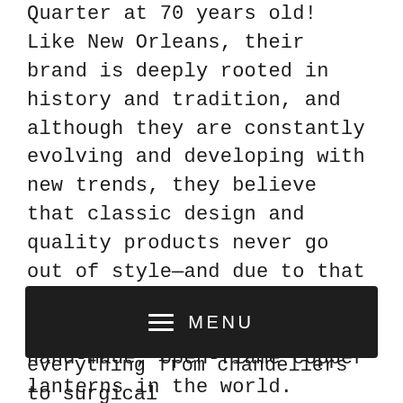Quarter at 70 years old! Like New Orleans, their brand is deeply rooted in history and tradition, and although they are constantly evolving and developing with new trends, they believe that classic design and quality products never go out of style—and due to that passion, today they are the largest manufacturer of hand-made, open-flame copper lanterns in the world.

You will step back in time to the 1930s when you walk into their showroom and when hear the story of how the company came to be. Italian immigrant Andrew Bevolo Sr. moved to New Orleans, where he began working with Higgins
[Figure (other): Dark navigation menu bar with hamburger icon and MENU text in white on dark background]
everything from chandeliers to surgical